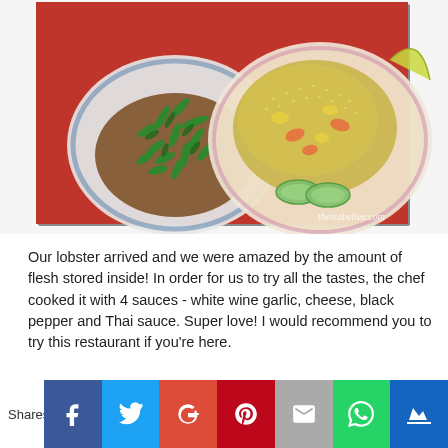[Figure (photo): Two plates of food on a red table: a plate of stir-fried morning glory/water spinach in brown sauce on the left, and a plate of fried rice with shrimp and vegetables garnished with cucumber slices and lime on the right. Watermark reads theisabellee.com]
Our lobster arrived and we were amazed by the amount of flesh stored inside! In order for us to try all the tastes, the chef cooked it with 4 sauces - white wine garlic, cheese, black pepper and Thai sauce. Super love! I would recommend you to try this restaurant if you're here.
Shares [Facebook] [Twitter] [Google+] [Pinterest] [Email] [WhatsApp] [Save]